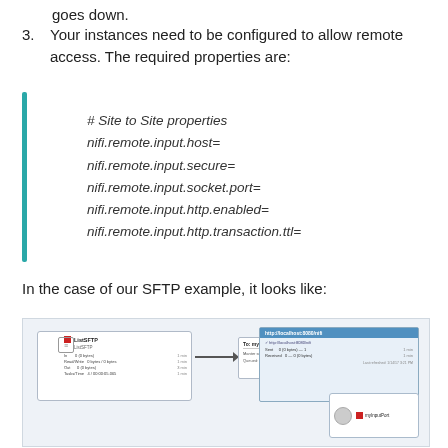goes down.
3. Your instances need to be configured to allow remote access. The required properties are:
# Site to Site properties
nifi.remote.input.host=
nifi.remote.input.secure=
nifi.remote.input.socket.port=
nifi.remote.input.http.enabled=
nifi.remote.input.http.transaction.ttl=
In the case of our SFTP example, it looks like:
[Figure (screenshot): Screenshot showing NiFi dataflow with ListSFTP processor connected via arrow to a remote process group (myInputPort), which connects to http://localhost:8080/nifi with Sent/Received stats, and a secondary InputPort panel at the bottom right.]